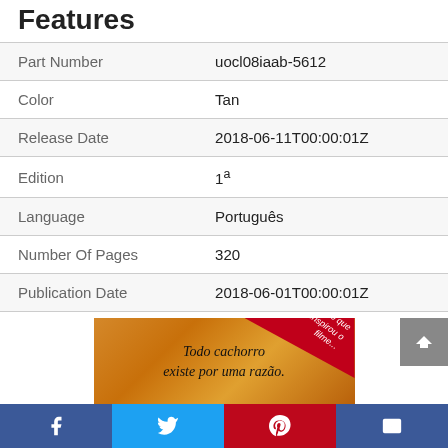Features
|  |  |
| --- | --- |
| Part Number | uocl08iaab-5612 |
| Color | Tan |
| Release Date | 2018-06-11T00:00:01Z |
| Edition | 1ª |
| Language | Português |
| Number Of Pages | 320 |
| Publication Date | 2018-06-01T00:00:01Z |
[Figure (photo): Book cover showing a golden dog's fur with the text 'Todo cachorro existe por uma razão.' and a red ribbon banner reading 'O livro que inspirou o filme']
Facebook | Twitter | Pinterest | Email